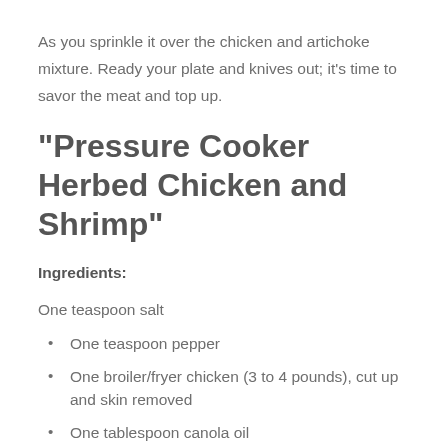As you sprinkle it over the chicken and artichoke mixture. Ready your plate and knives out; it's time to savor the meat and top up.
“Pressure Cooker Herbed Chicken and Shrimp”
Ingredients:
One teaspoon salt
One teaspoon pepper
One broiler/fryer chicken (3 to 4 pounds), cut up and skin removed
One tablespoon canola oil